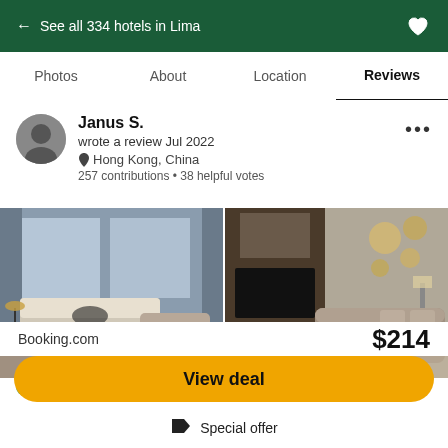← See all 334 hotels in Lima
Photos  About  Location  Reviews
Janus S.
wrote a review Jul 2022
Hong Kong, China
257 contributions • 38 helpful votes
[Figure (photo): Two hotel room photos side by side: left shows a bedroom with a large bed and ocean view windows; right shows a living area with sofa and round wall decorations.]
Booking.com  $214
View deal
Special offer